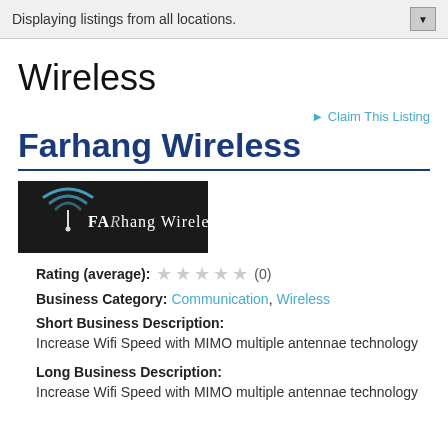Displaying listings from all locations.
Wireless
► Claim This Listing
Farhang Wireless
[Figure (logo): Farhang Wireless logo — dark background with wireless signal icon and text 'FARhang Wireless']
Rating (average): (0)
Business Category: Communication, Wireless
Short Business Description:
Increase Wifi Speed with MIMO multiple antennae technology
Long Business Description:
Increase Wifi Speed with MIMO multiple antennae technology